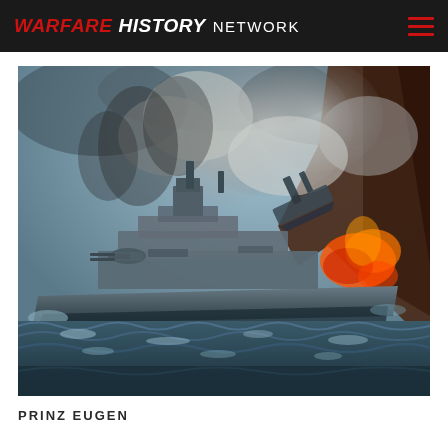WARFARE HISTORY NETWORK
[Figure (illustration): Colorized painting of a naval battle scene showing a warship in rough seas with smoke and fire, another vessel sinking in the background.]
PRINZ EUGEN